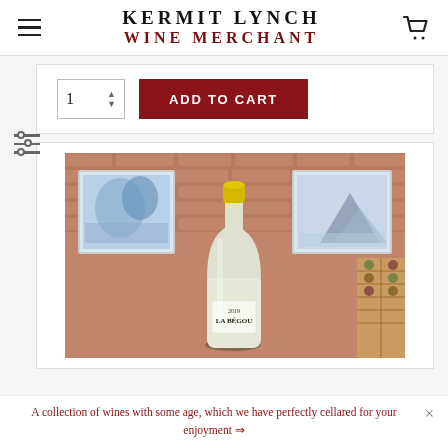KERMIT LYNCH WINE MERCHANT
[Figure (screenshot): Add to cart section with quantity selector showing '1' and a dark red 'ADD TO CART' button]
[Figure (photo): Product photo of a white wine bottle with yellow capsule and label reading 'LA BÉGOU' 2019, displayed against a brick wall background with framed artwork and wine rack]
A collection of wines with some age, which we have perfectly cellared for your enjoyment →